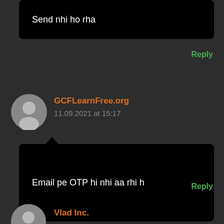[Figure (screenshot): Partial dark-themed comment section screenshot showing multiple user comments]
Send nhi ho rha
Reply
GCFLearnFree.org
11.09.2021 at 15:17
Email pe OTP hi nhi aa rhi h
Reply
Vlad Inc.